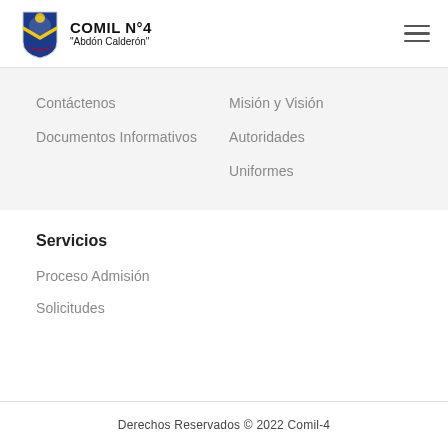COMIL N°4 "Abdón Calderón"
Contáctenos
Documentos Informativos
Misión y Visión
Autoridades
Uniformes
Servicios
Proceso Admisión
Solicitudes
Derechos Reservados © 2022 Comil-4